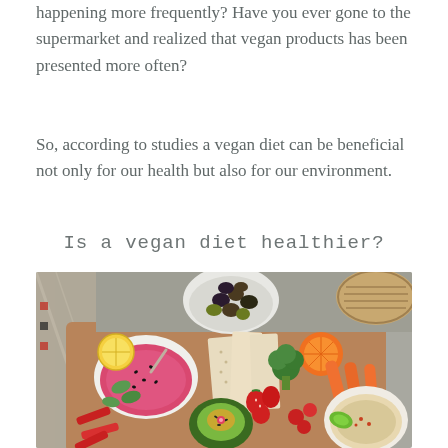happening more frequently? Have you ever gone to the supermarket and realized that vegan products has been presented more often?
So, according to studies a vegan diet can be beneficial not only for our health but also for our environment.
Is a vegan diet healthier?
[Figure (photo): Overhead photo of a vegan food platter on a wooden board with various colorful vegetables (carrots, cucumber, red peppers, broccoli, strawberries), crackers, sliced oranges, avocado, and two bowls — one with pink beet hummus topped with black sesame seeds, and one with regular hummus. A bowl of mixed olives sits at the top on a grey textile background.]